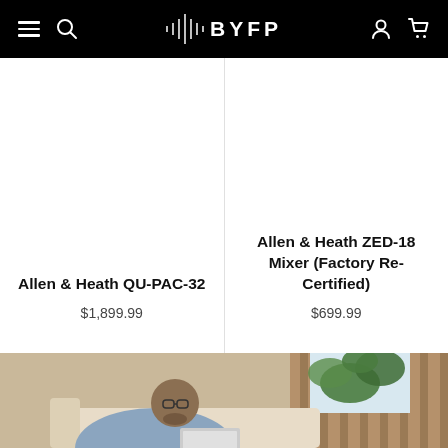BYFP navigation header with hamburger menu, search, logo, account, and cart icons
Allen & Heath QU-PAC-32
$1,899.99
Allen & Heath ZED-18 Mixer (Factory Re-Certified)
$699.99
[Figure (photo): Man with glasses sitting on a couch looking at a laptop, with a plant and wooden wall in background]